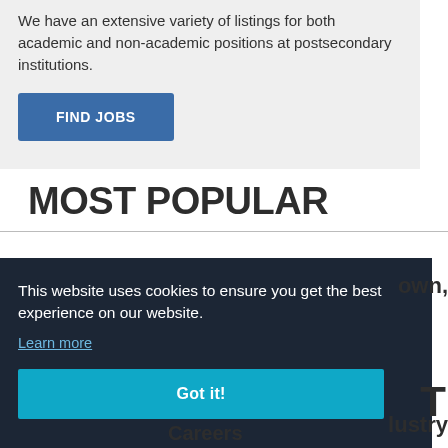We have an extensive variety of listings for both academic and non-academic positions at postsecondary institutions.
FIND JOBS
MOST POPULAR
This website uses cookies to ensure you get the best experience on our website.
Learn more
Got it!
own,
T
lustry
Careers